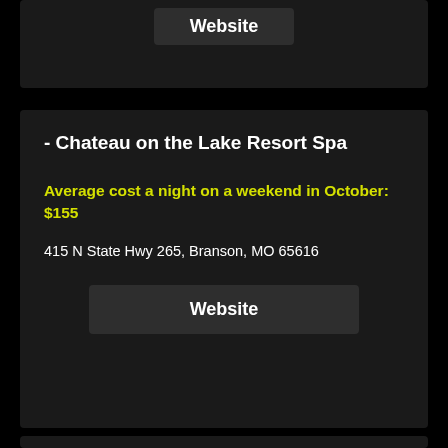Website
- Chateau on the Lake Resort Spa
Average cost a night on a weekend in October: $155
415 N State Hwy 265, Branson, MO 65616
Website